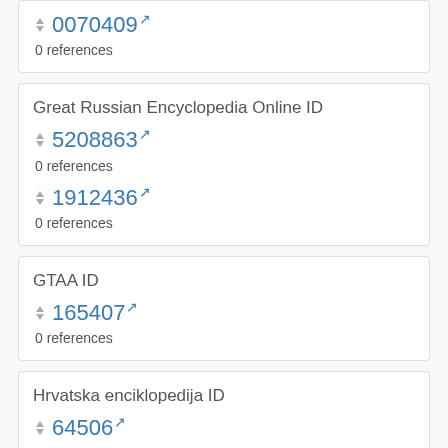0070409 [external link]
0 references
Great Russian Encyclopedia Online ID
5208863 [external link]
0 references
1912436 [external link]
0 references
GTAA ID
165407 [external link]
0 references
Hrvatska enciklopedija ID
64506 [external link]
0 references